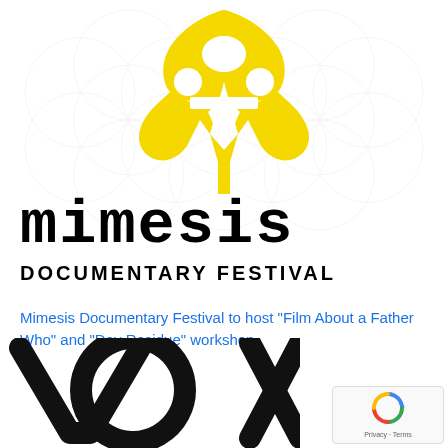[Figure (logo): Mimesis Documentary Festival logo: yellow geometric star/face icon above the word 'mimesis' in bold black monospace font, with 'DOCUMENTARY FESTIVAL' in black uppercase below. Background has subtle white geometric flower-of-life pattern.]
Mimesis Documentary Festival to host “Film About a Father Who” and “Day Residue” workshop
[Figure (logo): Partial black logo visible at bottom left corner of page, appears to be 'VOX' or similar text mark, partially cropped.]